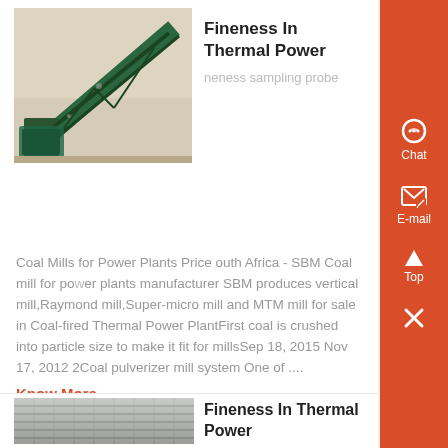Fineness In Thermal Power
[Figure (photo): 3D model of a conveyor belt structure for industrial material handling]
neness sampling probe Coal Mills for Power Plants Price outh Africa - SBM Coal mill for power plants manufacturer SBM produces vertical mill,Raymond mill,Super-micro mill and MTM mill for sale in Coal-fired Thermal Power PlantFirst coal is crushed into particle size to make it fit for millsSep 18, 2015 Nov 17, 2012 2Coal pulverizer mill system One of ....
Know More
Fineness In Thermal Power
[Figure (photo): Close-up photo of industrial metal surface or thermal power equipment]